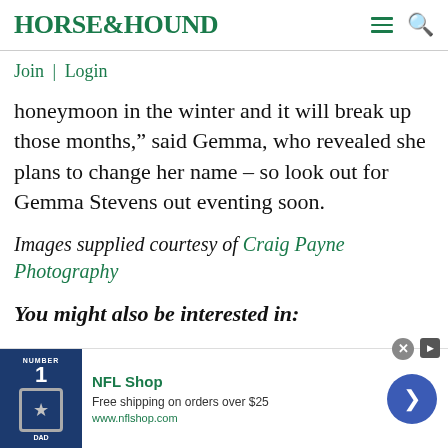HORSE&HOUND
Join | Login
honeymoon in the winter and it will break up those months," said Gemma, who revealed she plans to change her name – so look out for Gemma Stevens out eventing soon.
Images supplied courtesy of Craig Payne Photography
You might also be interested in:
[Figure (other): NFL Shop advertisement banner with jersey image, NFL Shop title, 'Free shipping on orders over $25', www.nflshop.com, and a navigation arrow button]